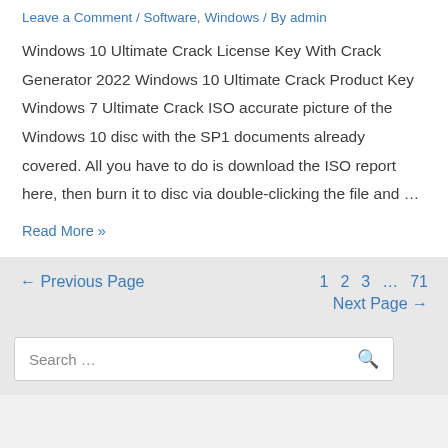Leave a Comment / Software, Windows / By admin
Windows 10 Ultimate Crack License Key With Crack Generator 2022 Windows 10 Ultimate Crack Product Key Windows 7 Ultimate Crack ISO accurate picture of the Windows 10 disc with the SP1 documents already covered. All you have to do is download the ISO report here, then burn it to disc via double-clicking the file and …
Read More »
← Previous Page   1   2   3   …   71   Next Page →